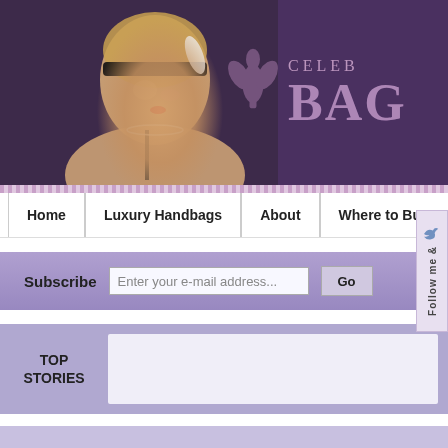[Figure (screenshot): Website banner for Celebrity Bags blog showing a 1920s-style woman in black headband with feather, and text 'CELEB BAG' in purple on dark purple background with fleur-de-lis decoration]
Home | Luxury Handbags | About | Where to Buy B
Subscribe  Enter your e-mail address...  Go
TOP STORIES